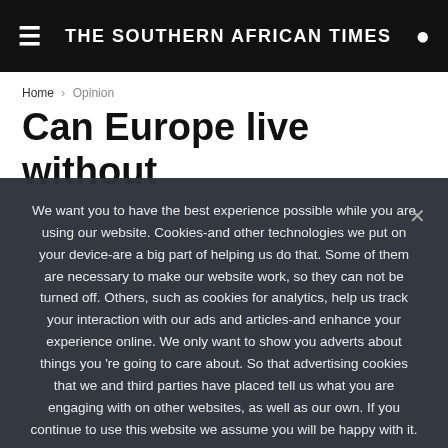THE SOUTHERN AFRICAN TIMES
Home > Opinion
Can Europe live without
We want you to have the best experience possible while you are using our website. Cookies-and other technologies we put on your device-are a big part of helping us do that. Some of them are necessary to make our website work, so they can not be turned off. Others, such as cookies for analytics, help us track your interaction with our ads and articles-and enhance your experience online. We only want to show you adverts about things you 're going to care about. So that advertising cookies that we and third parties have placed tell us what you are engaging with on other websites, as well as our own. If you continue to use this website we assume you will be happy with it.
I'm in | No | Cookie Policy